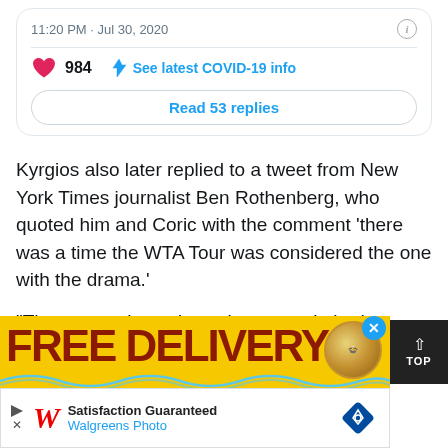11:20 PM · Jul 30, 2020
984  See latest COVID-19 info
Read 53 replies
Kyrgios also later replied to a tweet from New York Times journalist Ben Rothenberg, who quoted him and Coric with the comment 'there was a time the WTA Tour was considered the one with the drama.'
“There was also a time where people had brains,” Kyrgios responded.
[Figure (screenshot): Advertisement banner for FREE DELIVERY from Walgreens Photo with yellow background and bowl image]